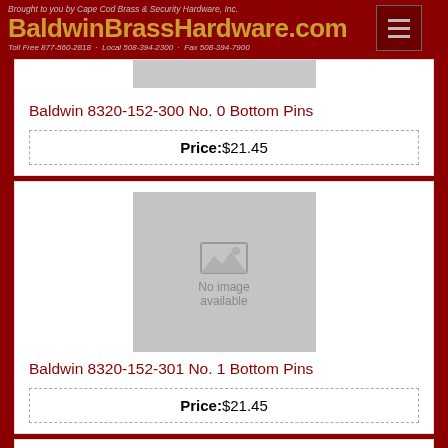Brought to you by Cape Cod Brass & Security Hardware, Inc.
BaldwinBrassHardware.com
Toll Free 877-560-2818 · Local 508-394-2300 · Fax 508-394-7900
[Figure (photo): Partial cropped product image at top of page (gray placeholder)]
Baldwin 8320-152-300 No. 0 Bottom Pins
Price: $21.45
[Figure (photo): No image available placeholder for Baldwin 8320-152-301]
Baldwin 8320-152-301 No. 1 Bottom Pins
Price: $21.45
[Figure (photo): Partial cropped product image at bottom of page (gray placeholder)]